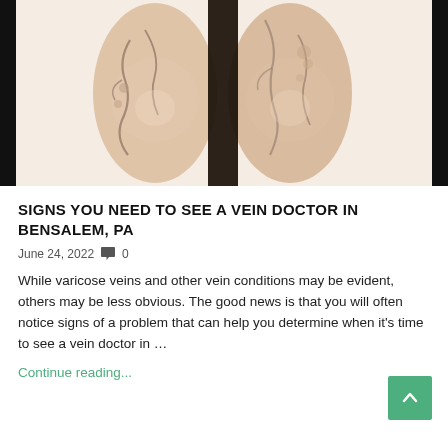[Figure (photo): Close-up photo of human legs showing varicose veins — twisted, bulging veins visible on both legs, against a white background, with black vertical borders on left and right edges]
SIGNS YOU NEED TO SEE A VEIN DOCTOR IN BENSALEM, PA
June 24, 2022  💬 0
While varicose veins and other vein conditions may be evident, others may be less obvious. The good news is that you will often notice signs of a problem that can help you determine when it's time to see a vein doctor in …
Continue reading...